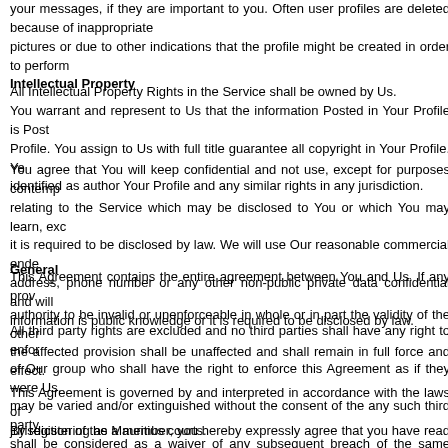your messages, if they are important to you. Often user profiles are deleted because of inappropriate pictures or due to other indications that the profile might be created in order to perform...
Intellectual Property
All Intellectual Property Rights in the Service shall be owned by Us.
You warrant and represent to Us that the information Posted in Your Profile is Posted in Your Profile. You assign to Us with full title guarantee all copyright in Your Profile. You waive the right to be identified as author Your Profile and any similar rights in any jurisdiction.
You agree that You will keep confidential and not use, except for purposes contemplated relating to the Service which may be disclosed to You or which You may learn, except where it is required to be disclosed by law. We will use Our reasonable commercial endeavours to keep your address, phone number or any other non-public private data confidential and will not disclose it unless information is public knowledge or it is required to be disclosed by law.
General
This Agreement contains the entire agreement between You and Us. If any provision is found by authority to be invalid or unenforceable in whole or in part the validity of the other provisions and the affected provision shall be unaffected and shall remain in full force and effect.
All third party rights are excluded and no third parties shall have any right to enforce any terms of Our group who shall have the right to enforce this Agreement as if they were Us. This Agreement may be varied and/or extinguished without the consent of the any such third party. No waiver shall be considered as a waiver of any subsequent breach of the same provision or any other provision.
This Agreement is governed by and interpreted in accordance with the laws of and jurisdiction of the Mauritius courts.
By registering as a member, you hereby expressly agree that you have read a...